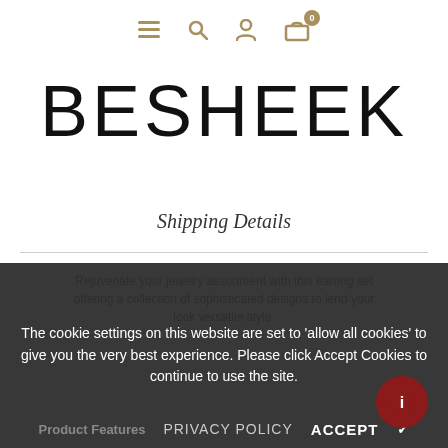[Figure (screenshot): Navigation bar with hamburger menu, search, user account, and shopping cart icons in tan/gold color]
BESHEEK
Shipping Details
Rejuvenate your jewelry assortment with this earring set offering a collection of sophisticated designs to lend your look versatile style.
The cookie settings on this website are set to 'allow all cookies' to give you the very best experience. Please click Accept Cookies to continue to use the site.
Product Features
PRIVACY POLICY   ACCEPT ✓